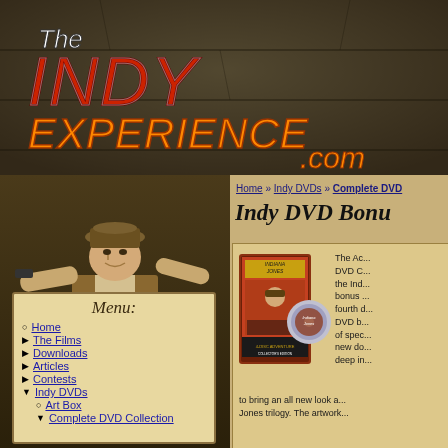[Figure (screenshot): The Indiana Experience website header banner with logo text 'The Indy Experience .com' in stylized orange/red lettering on dark stone background]
[Figure (illustration): Indiana Jones character illustration on left side, holding gun and whip on stone pedestal with artifact]
Menu:
Home
The Films
Downloads
Articles
Contests
Indy DVDs
Art Box
Complete DVD Collection
Home » Indy DVDs » Complete DVD
Indy DVD Bonu
[Figure (photo): Indiana Jones: A Complete Adventure DVD Collection box set product image]
The Ac... DVD C... the Ind... bonus ... fourth d... DVD b... of spec... new do... deep in... to bring an all new look a... Jones trilogy. The artwork...